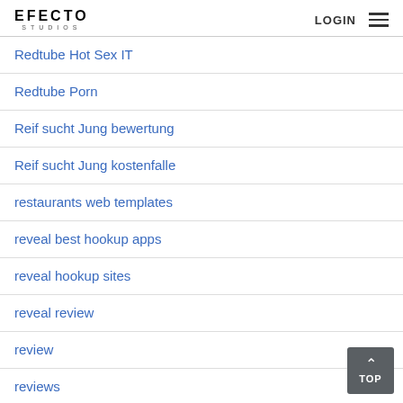EFECTO STUDIOS | LOGIN
Redtube Hot Sex IT
Redtube Porn
Reif sucht Jung bewertung
Reif sucht Jung kostenfalle
restaurants web templates
reveal best hookup apps
reveal hookup sites
reveal review
review
reviews